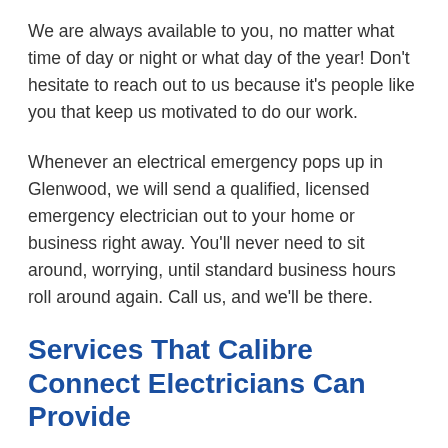We are always available to you, no matter what time of day or night or what day of the year! Don't hesitate to reach out to us because it's people like you that keep us motivated to do our work.
Whenever an electrical emergency pops up in Glenwood, we will send a qualified, licensed emergency electrician out to your home or business right away. You'll never need to sit around, worrying, until standard business hours roll around again. Call us, and we'll be there.
Services That Calibre Connect Electricians Can Provide
What services do your Glenwood electrical contractors provide? Calibre Connect offers a menu of services that extends far beyond emergency repair and electrical installation during